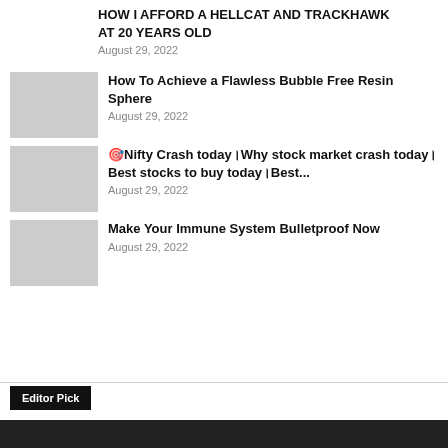HOW I AFFORD A HELLCAT AND TRACKHAWK AT 20 YEARS OLD
August 29, 2022
How To Achieve a Flawless Bubble Free Resin Sphere
August 29, 2022
🎯Nifty Crash today।Why stock market crash today।Best stocks to buy today।Best...
August 29, 2022
Make Your Immune System Bulletproof Now
August 29, 2022
Editor Pick